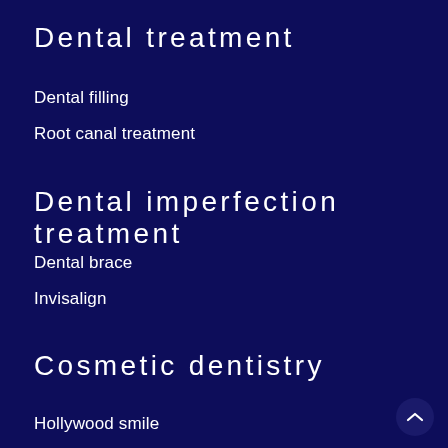Dental treatment
Dental filling
Root canal treatment
Dental imperfection treatment
Dental brace
Invisalign
Cosmetic dentistry
Hollywood smile
Teeth whitening
Veneers